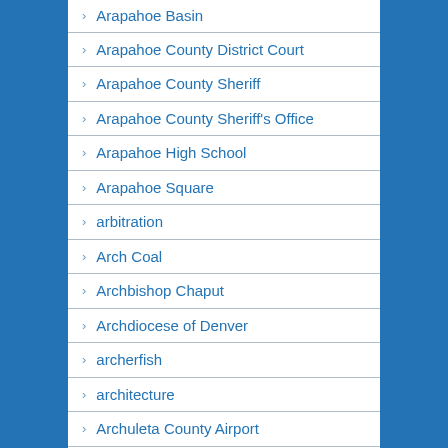Arapahoe Basin
Arapahoe County District Court
Arapahoe County Sheriff
Arapahoe County Sheriff's Office
Arapahoe High School
Arapahoe Square
arbitration
Arch Coal
Archbishop Chaput
Archdiocese of Denver
archerfish
architecture
Archuleta County Airport
Archuleta County High School